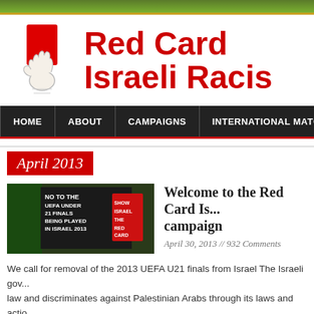[Figure (photo): Grass/turf top banner strip]
[Figure (logo): Red card held by hand logo illustration, alongside 'Red Card Israeli Racism' title]
HOME | ABOUT | CAMPAIGNS | INTERNATIONAL MATCHES
April 2013
[Figure (photo): Protest sign reading NO TO THE UEFA UNDER 21 FINALS BEING PLAYED IN ISRAEL 2013 with SHOW ISRAEL THE RED CARD]
Welcome to the Red Card Is... campaign
April 30, 2013 // 932 Comments
We call for removal of the 2013 UEFA U21 finals from Israel The Israeli go... law and discriminates against Palestinian Arabs through its laws and actio... cleansing, restrictions on movement, and limited access to water, health s... Palestinian footballers suffer their share of this oppression. They are arbit...